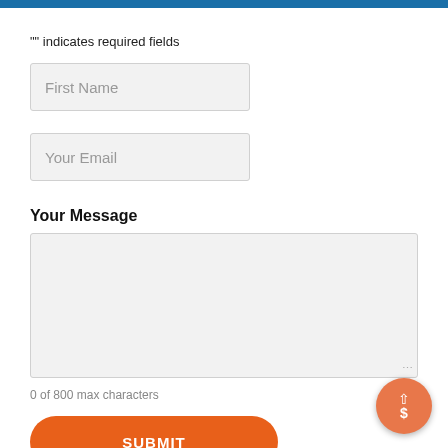"" indicates required fields
First Name
Your Email
Your Message
0 of 800 max characters
SUBMIT